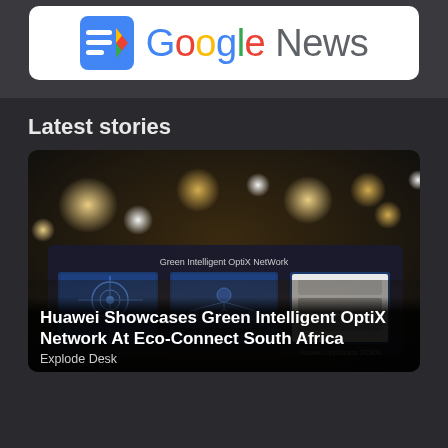[Figure (logo): Google News logo with icon on white rounded rectangle banner]
Latest stories
[Figure (photo): Huawei Green Intelligent OptiX Network display screens at Eco-Connect South Africa event, showing network equipment dashboards with bokeh lights in background]
Huawei Showcases Green Intelligent OptiX Network At Eco-Connect South Africa
Explode Desk